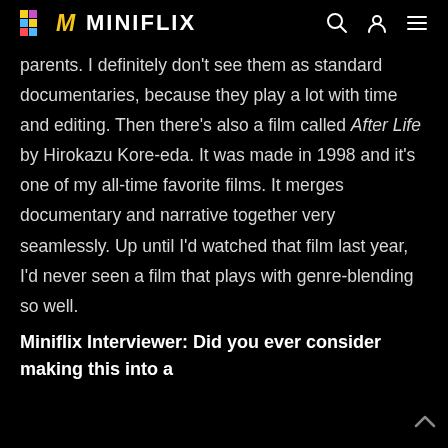MINIFLIX
parents. I definitely don't see them as standard documentaries, because they play a lot with time and editing. Then there's also a film called After Life by Hirokazu Kore-eda. It was made in 1998 and it's one of my all-time favorite films. It merges documentary and narrative together very seamlessly. Up until I'd watched that film last year, I'd never seen a film that plays with genre-blending so well.
Miniflix Interviewer: Did you ever consider making this into a